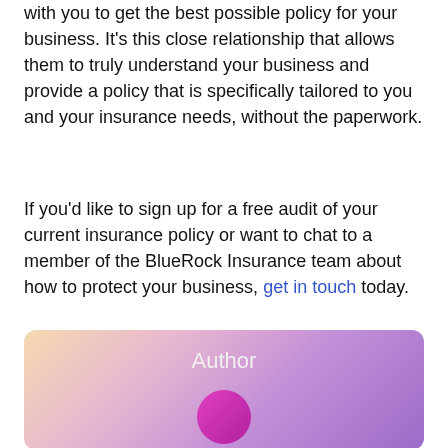with you to get the best possible policy for your business. It's this close relationship that allows them to truly understand your business and provide a policy that is specifically tailored to you and your insurance needs, without the paperwork.
If you'd like to sign up for a free audit of your current insurance policy or want to chat to a member of the BlueRock Insurance team about how to protect your business, get in touch today.
[Figure (other): Author bio card with gradient background (yellow-pink-purple) showing the text 'Author' and a circular pink/magenta avatar placeholder at the bottom.]